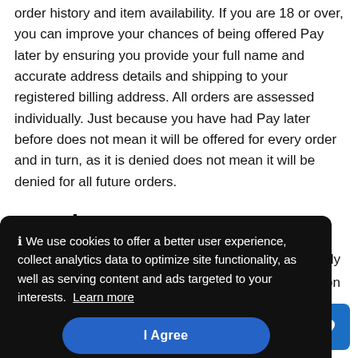order history and item availability. If you are 18 or over, you can improve your chances of being offered Pay later by ensuring you provide your full name and accurate address details and shipping to your registered billing address. All orders are assessed individually. Just because you have had Pay later before does not mean it will be offered for every order and in turn, as it is denied does not mean it will be denied for all future orders.
How is my statement sent?
...onthly ...on ...ou ...e a ...e ...nce.
[Figure (infographic): Cookie consent overlay banner with dark background. Text reads: 'ℹ We use cookies to offer a better user experience, collect analytics data to optimize site functionality, as well as serving content and ads targeted to your interests. Learn more' with an 'I Agree' blue button.]
[Figure (other): Blue square button with a white heart icon, partially visible behind the cookie banner.]